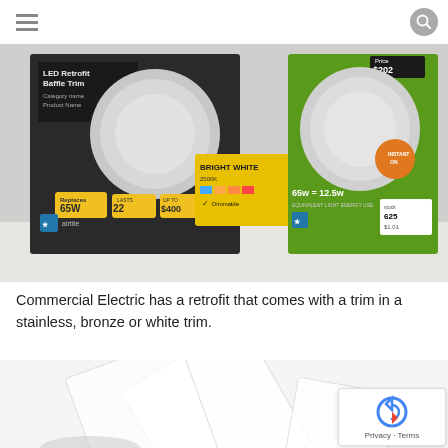[hamburger menu icon] [search icon]
[Figure (photo): Photo of LED Retrofit Baffle Trim product boxes from Commercial Electric, showing two green and white packaging boxes with circular LED light fixtures. Labels show 65w = 12.5w, lasts 22 years, up to $400 savings, BRIGHT WHITE 2500K, price $202, Energy Star certified.]
Commercial Electric has a retrofit that comes with a trim in a stainless, bronze or white trim.
[Figure (photo): Partial photo of a white square LED flat panel light fixture or trim piece on a white background.]